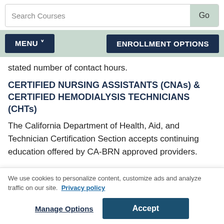Search Courses  Go
MENU  ENROLLMENT OPTIONS
stated number of contact hours.
CERTIFIED NURSING ASSISTANTS (CNAs) & CERTIFIED HEMODIALYSIS TECHNICIANS (CHTs)
The California Department of Health, Aid, and Technician Certification Section accepts continuing education offered by CA-BRN approved providers.
We use cookies to personalize content, customize ads and analyze traffic on our site.  Privacy policy
Manage Options  Accept